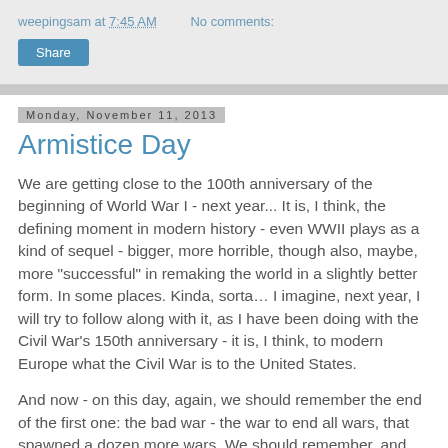weepingsam at 7:45 AM   No comments:
Share
Monday, November 11, 2013
Armistice Day
We are getting close to the 100th anniversary of the beginning of World War I - next year... It is, I think, the defining moment in modern history - even WWII plays as a kind of sequel - bigger, more horrible, though also, maybe, more "successful" in remaking the world in a slightly better form. In some places. Kinda, sorta… I imagine, next year, I will try to follow along with it, as I have been doing with the Civil War's 150th anniversary - it is, I think, to modern Europe what the Civil War is to the United States.
And now - on this day, again, we should remember the end of the first one: the bad war - the war to end all wars, that spawned a dozen more wars. We should remember, and think about what to say...